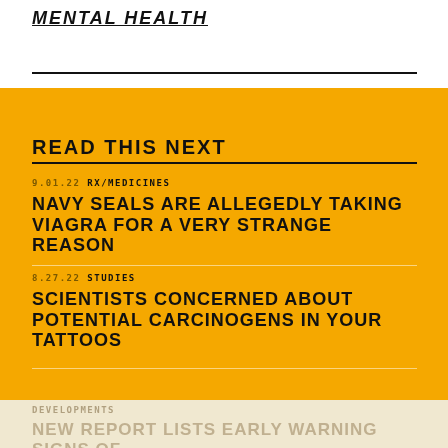MENTAL HEALTH
READ THIS NEXT
9.01.22  RX/MEDICINES
NAVY SEALS ARE ALLEGEDLY TAKING VIAGRA FOR A VERY STRANGE REASON
8.27.22  STUDIES
SCIENTISTS CONCERNED ABOUT POTENTIAL CARCINOGENS IN YOUR TATTOOS
DEVELOPMENTS
NEW REPORT LISTS EARLY WARNING SIGNS OF